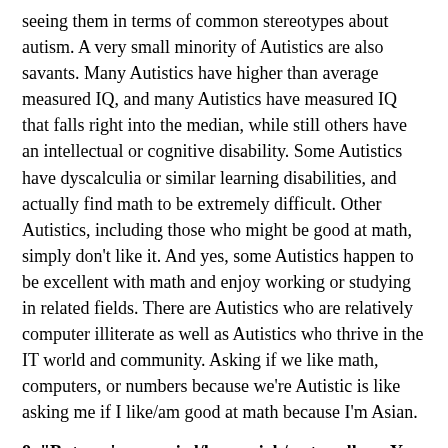seeing them in terms of common stereotypes about autism. A very small minority of Autistics are also savants. Many Autistics have higher than average measured IQ, and many Autistics have measured IQ that falls right into the median, while still others have an intellectual or cognitive disability. Some Autistics have dyscalculia or similar learning disabilities, and actually find math to be extremely difficult. Other Autistics, including those who might be good at math, simply don't like it. And yes, some Autistics happen to be excellent with math and enjoy working or studying in related fields. There are Autistics who are relatively computer illiterate as well as Autistics who thrive in the IT world and community. Asking if we like math, computers, or numbers because we're Autistic is like asking me if I like/am good at math because I'm Asian.
8. "But you're married/have a job/go to college. You couldn't do that if you were really Autistic."
Yes, it's true that every Autistic isn't going to get married, have a job, or go to college. But plenty of Autistics do get